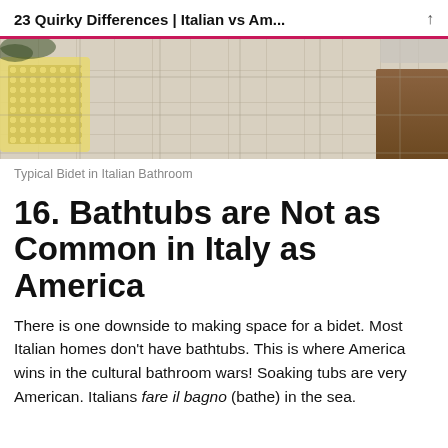23 Quirky Differences | Italian vs Am...
[Figure (photo): Overhead view of a tiled Italian bathroom floor with a yellow bath mat on the left and a wooden cabinet on the right]
Typical Bidet in Italian Bathroom
16. Bathtubs are Not as Common in Italy as America
There is one downside to making space for a bidet. Most Italian homes don't have bathtubs. This is where America wins in the cultural bathroom wars! Soaking tubs are very American. Italians fare il bagno (bathe) in the sea.